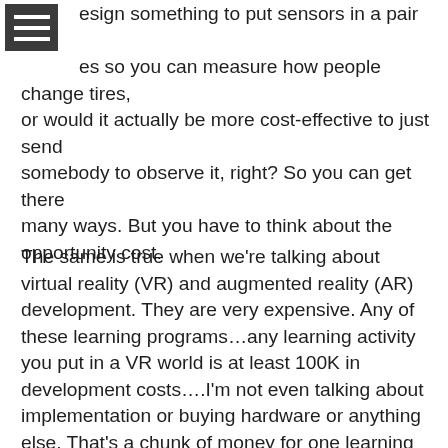esign something to put sensors in a pair of es so you can measure how people change tires, or would it actually be more cost-effective to just send somebody to observe it, right? So you can get there many ways. But you have to think about the opportunity cost.
The same is true when we're talking about virtual reality (VR) and augmented reality (AR) development. They are very expensive. Any of these learning programs…any learning activity you put in a VR world is at least 100K in development costs….I'm not even talking about implementation or buying hardware or anything else. That's a chunk of money for one learning activity.
And the same with measurements. It costs money to put measurements on certain things, like if you're going to put sensors into gloves to measure how people are interacting with machines. And perhaps